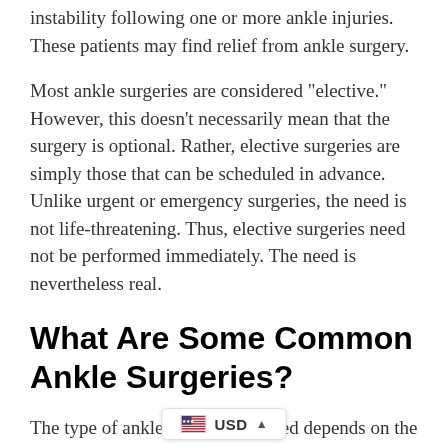instability following one or more ankle injuries. These patients may find relief from ankle surgery.
Most ankle surgeries are considered "elective." However, this doesn't necessarily mean that the surgery is optional. Rather, elective surgeries are simply those that can be scheduled in advance. Unlike urgent or emergency surgeries, the need is not life-threatening. Thus, elective surgeries need not be performed immediately. The need is nevertheless real.
What Are Some Common Ankle Surgeries?
The type of ankle surgery you need depends on the underlying condition or injury. Some of the most common surg... fractures and torn